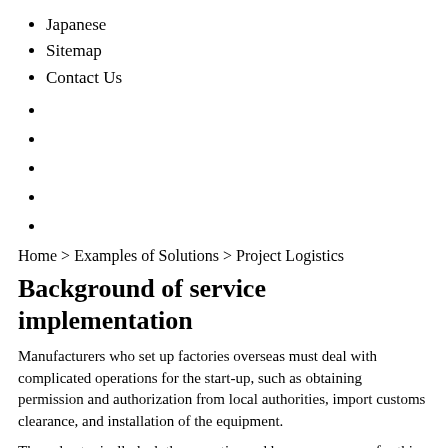Japanese
Sitemap
Contact Us
Home > Examples of Solutions > Project Logistics
Background of service implementation
Manufacturers who set up factories overseas must deal with complicated operations for the start-up, such as obtaining permission and authorization from local authorities, import customs clearance, and installation of the equipment.
They also typically lack the expertise and human resources for this kind of work.
This results in multiple problems, which severely affect the factory construction schedule.